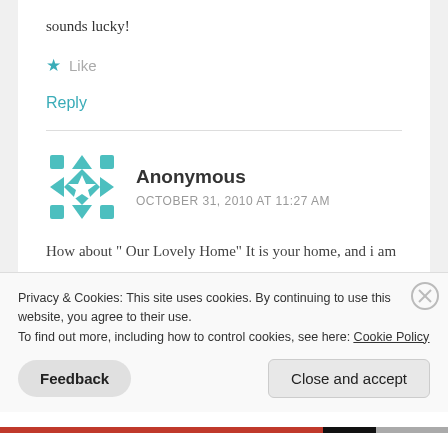sounds lucky!
★ Like
Reply
Anonymous
OCTOBER 31, 2010 AT 11:27 AM
How about " Our Lovely Home" It is your home, and i am sure it will be Lovely. Joelynn
Privacy & Cookies: This site uses cookies. By continuing to use this website, you agree to their use.
To find out more, including how to control cookies, see here: Cookie Policy
Feedback
Close and accept